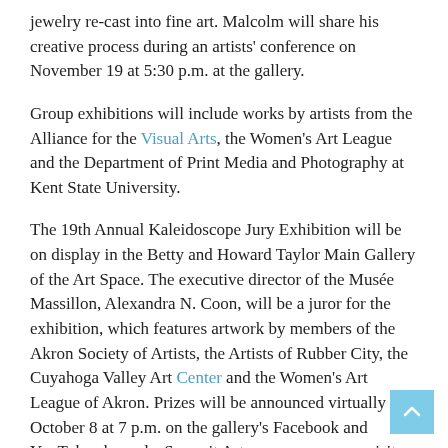jewelry re-cast into fine art. Malcolm will share his creative process during an artists' conference on November 19 at 5:30 p.m. at the gallery.
Group exhibitions will include works by artists from the Alliance for the Visual Arts, the Women's Art League and the Department of Print Media and Photography at Kent State University.
The 19th Annual Kaleidoscope Jury Exhibition will be on display in the Betty and Howard Taylor Main Gallery of the Art Space. The executive director of the Musée Massillon, Alexandra N. Coon, will be a juror for the exhibition, which features artwork by members of the Akron Society of Artists, the Artists of Rubber City, the Cuyahoga Valley Art Center and the Women's Art League of Akron. Prizes will be announced virtually on October 8 at 7 p.m. on the gallery's Facebook and YouTube channels. Summit Artspace encourages visitors to vote for their favorite work for the People's Choice Award.